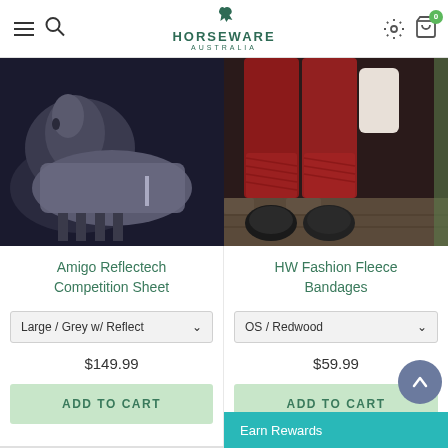Horseware Australia — navigation header with menu, search, settings, and cart
[Figure (photo): Horse wearing a grey Amigo Reflectech Competition Sheet in a dark stable]
Amigo Reflectech Competition Sheet
Large / Grey w/ Reflect
$149.99
ADD TO CART
[Figure (photo): Close-up of a horse's legs wrapped in red HW Fashion Fleece Bandages on cobblestone]
HW Fashion Fleece Bandages
OS / Redwood
$59.99
ADD TO CART
Earn Rewards